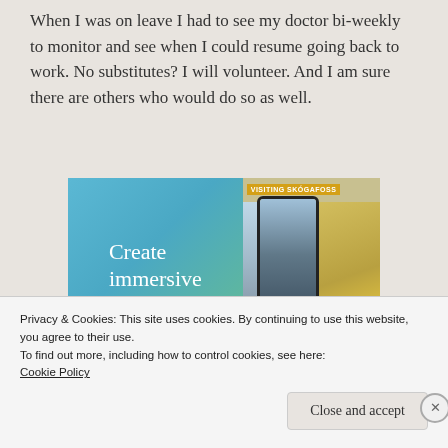When I was on leave I had to see my doctor bi-weekly to monitor and see when I could resume going back to work. No substitutes? I will volunteer. And I am sure there are others who would do so as well.
[Figure (illustration): Advertisement banner showing 'Create immersive stories.' text on a blue-green gradient background on the left, and a phone-framed photo of a waterfall (labeled VISITING SKOGAFOSS) with a person in a yellow jacket on the right.]
Privacy & Cookies: This site uses cookies. By continuing to use this website, you agree to their use.
To find out more, including how to control cookies, see here:
Cookie Policy
Close and accept